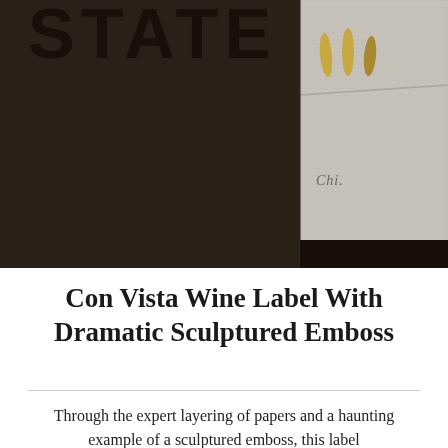[Figure (photo): A wine bottle label product photo showing a dark brown/black background on the left with large partially visible text 'STATE' in dark letters, and on the right a grey textured wine bottle with gold leaf decorative accents and the partial text 'CHI' visible on the label.]
Con Vista Wine Label With Dramatic Sculptured Emboss
Through the expert layering of papers and a haunting example of a sculptured emboss, this label